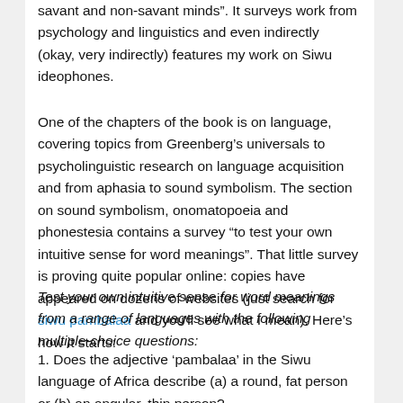savant and non-savant minds”. It surveys work from psychology and linguistics and even indirectly (okay, very indirectly) features my work on Siwu ideophones.
One of the chapters of the book is on language, covering topics from Greenberg’s universals to psycholinguistic research on language acquisition and from aphasia to sound symbolism. The section on sound symbolism, onomatopoeia and phonestesia contains a survey “to test your own intuitive sense for word meanings”. That little survey is proving quite popular online: copies have appeared on dozens of websites (just search for siwu pambalaa and you’ll see what I mean). Here’s how it starts:
Test your own intuitive sense for word meanings from a range of languages with the following multiple-choice questions:
1. Does the adjective ‘pambalaa’ in the Siwu language of Africa describe (a) a round, fat person or (b) an angular, thin person?